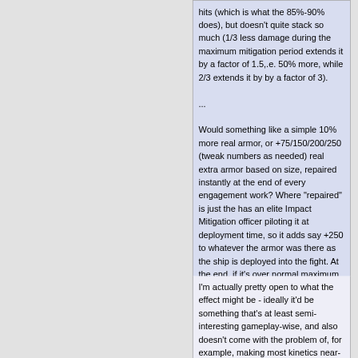hits (which is what the 85%-90% does), but doesn't quite stack so much (1/3 less damage during the maximum mitigation period extends it by a factor of 1.5,.e. 50% more, while 2/3 extends it by by a factor of 3).

...

Would something like a simple 10% more real armor, or +75/150/200/250 (tweak numbers as needed) real extra armor based on size, repaired instantly at the end of every engagement work?  Where "repaired" is just the has an elite Impact Mitigation officer piloting it at deployment time, so it adds say +250 to whatever the armor was there as the ship is deployed into the fight.  At the end, if it's over normal maximum in any cell, just remove excess.
I'm actually pretty open to what the effect might be - ideally it'd be something that's at least semi-interesting gameplay-wise, and also doesn't come with the problem of, for example, making most kinetics near-useless vs hull, like +150 effective